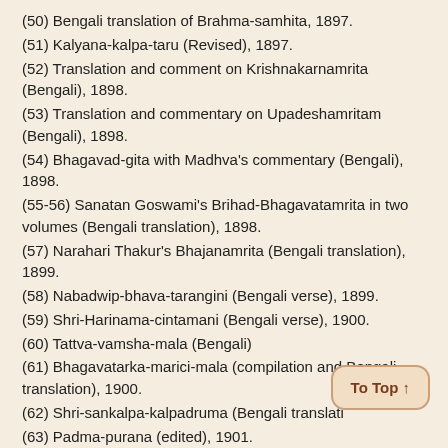(50) Bengali translation of Brahma-samhita, 1897.
(51) Kalyana-kalpa-taru (Revised), 1897.
(52) Translation and comment on Krishnakarnamrita (Bengali), 1898.
(53) Translation and commentary on Upadeshamritam (Bengali), 1898.
(54) Bhagavad-gita with Madhva's commentary (Bengali), 1898.
(55-56) Sanatan Goswami's Brihad-Bhagavatamrita in two volumes (Bengali translation), 1898.
(57) Narahari Thakur's Bhajanamrita (Bengali translation), 1899.
(58) Nabadwip-bhava-tarangini (Bengali verse), 1899.
(59) Shri-Harinama-cintamani (Bengali verse), 1900.
(60) Tattva-vamsha-mala (Bengali)
(61) Bhagavatarka-marici-mala (compilation and Bengali translation), 1900.
(62) Shri-sankalpa-kalpadruma (Bengali translation)
(63) Padma-purana (edited), 1901.